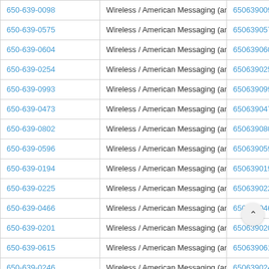| 650-639-0098 | Wireless / American Messaging (am) | 6506390098 |
| 650-639-0575 | Wireless / American Messaging (am) | 6506390575 |
| 650-639-0604 | Wireless / American Messaging (am) | 6506390604 |
| 650-639-0254 | Wireless / American Messaging (am) | 6506390254 |
| 650-639-0993 | Wireless / American Messaging (am) | 6506390993 |
| 650-639-0473 | Wireless / American Messaging (am) | 6506390473 |
| 650-639-0802 | Wireless / American Messaging (am) | 6506390802 |
| 650-639-0596 | Wireless / American Messaging (am) | 6506390596 |
| 650-639-0194 | Wireless / American Messaging (am) | 6506390194 |
| 650-639-0225 | Wireless / American Messaging (am) | 6506390225 |
| 650-639-0466 | Wireless / American Messaging (am) | 6506390466 |
| 650-639-0201 | Wireless / American Messaging (am) | 6506390201 |
| 650-639-0615 | Wireless / American Messaging (am) | 6506390615 |
| 650-639-0246 | Wireless / American Messaging (am) | 6506390246 |
| 650-639-0300 | Wireless / American Messaging (am) | 65063900… |
| 650-639-0888 | Wireless / American Messaging (am) | 650639… |
| 650-639-0886 | Wireless / American Messaging (am) | 6506390886 |
| 650-639-0897 | Wireless / American Messaging (am) | 6506390897 |
| 650-639-0071 | Wireless / American Messaging (am) | 6506390071 |